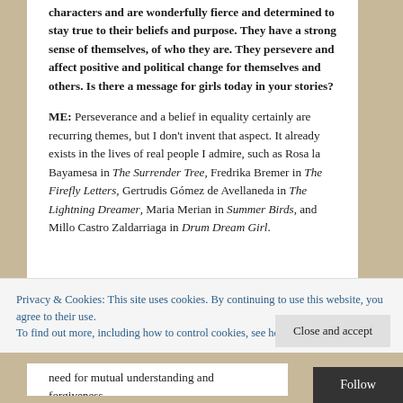characters and are wonderfully fierce and determined to stay true to their beliefs and purpose. They have a strong sense of themselves, of who they are. They persevere and affect positive and political change for themselves and others. Is there a message for girls today in your stories?
ME: Perseverance and a belief in equality certainly are recurring themes, but I don't invent that aspect. It already exists in the lives of real people I admire, such as Rosa la Bayamesa in The Surrender Tree, Fredrika Bremer in The Firefly Letters, Gertrudis Gómez de Avellaneda in The Lightning Dreamer, Maria Merian in Summer Birds, and Millo Castro Zaldarriaga in Drum Dream Girl.
Privacy & Cookies: This site uses cookies. By continuing to use this website, you agree to their use.
To find out more, including how to control cookies, see here: Cookie Policy
need for mutual understanding and forgiveness.